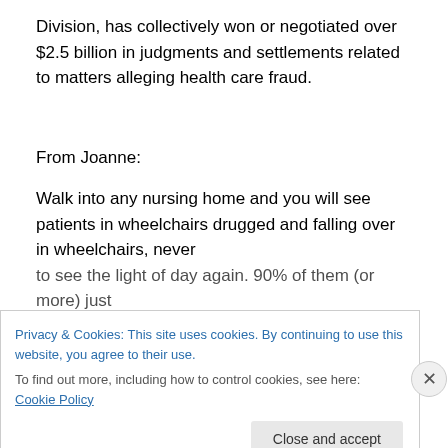Division, has collectively won or negotiated over $2.5 billion in judgments and settlements related to matters alleging health care fraud.
From Joanne:
Walk into any nursing home and you will see patients in wheelchairs drugged and falling over in wheelchairs, never to see the light of day again. 90% of them (or more) just
Privacy & Cookies: This site uses cookies. By continuing to use this website, you agree to their use.
To find out more, including how to control cookies, see here: Cookie Policy